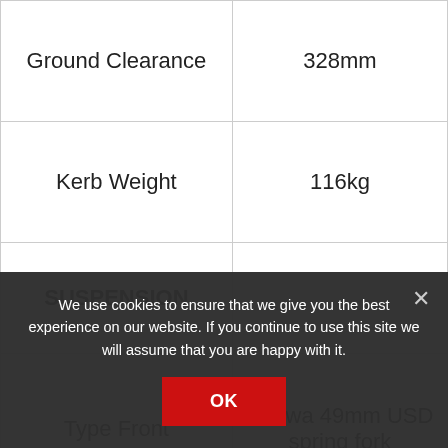| Specification | Value |
| --- | --- |
| Ground Clearance | 328mm |
| Kerb Weight | 116kg |
| SUSPENSION |  |
| Type Front | Showa 49mm USD spring fork |
We use cookies to ensure that we give you the best experience on our website. If you continue to use this site we will assume that you are happy with it.